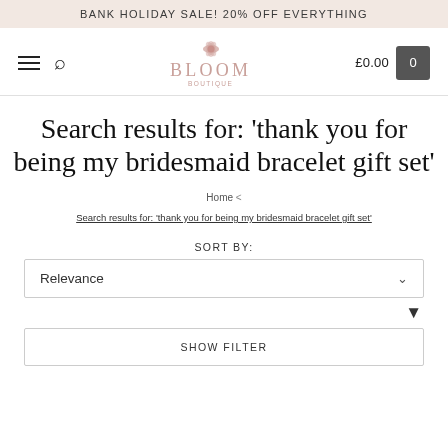BANK HOLIDAY SALE! 20% OFF EVERYTHING
[Figure (logo): Bloom Boutique logo with lotus flower icon and text BLOOM BOUTIQUE]
Search results for: 'thank you for being my bridesmaid bracelet gift set'
Home < Search results for: 'thank you for being my bridesmaid bracelet gift set'
SORT BY:
Relevance
SHOW FILTER